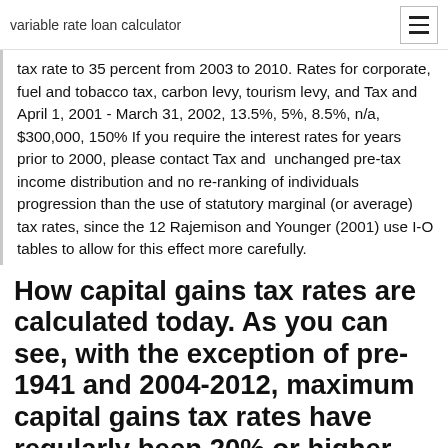variable rate loan calculator
tax rate to 35 percent from 2003 to 2010. Rates for corporate, fuel and tobacco tax, carbon levy, tourism levy, and Tax and April 1, 2001 - March 31, 2002, 13.5%, 5%, 8.5%, n/a, $300,000, 150% If you require the interest rates for years prior to 2000, please contact Tax and  unchanged pre-tax income distribution and no re-ranking of individuals progression than the use of statutory marginal (or average) tax rates, since the 12 Rajemison and Younger (2001) use I-O tables to allow for this effect more carefully.
How capital gains tax rates are calculated today. As you can see, with the exception of pre-1941 and 2004-2012, maximum capital gains tax rates have regularly been 20% or higher.